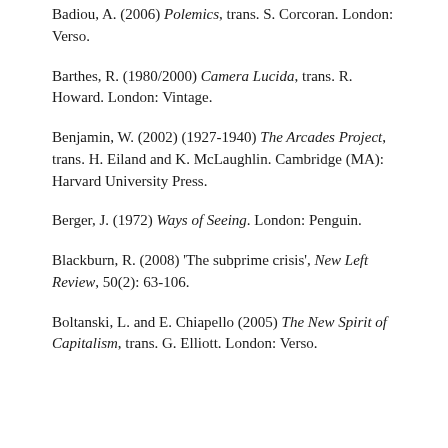Badiou, A. (2006) Polemics, trans. S. Corcoran. London: Verso.
Barthes, R. (1980/2000) Camera Lucida, trans. R. Howard. London: Vintage.
Benjamin, W. (2002) (1927-1940) The Arcades Project, trans. H. Eiland and K. McLaughlin. Cambridge (MA): Harvard University Press.
Berger, J. (1972) Ways of Seeing. London: Penguin.
Blackburn, R. (2008) 'The subprime crisis', New Left Review, 50(2): 63-106.
Boltanski, L. and E. Chiapello (2005) The New Spirit of Capitalism, trans. G. Elliott. London: Verso.